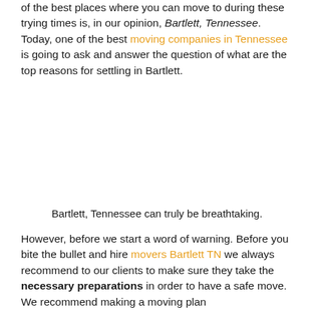of the best places where you can move to during these trying times is, in our opinion, Bartlett, Tennessee. Today, one of the best moving companies in Tennessee is going to ask and answer the question of what are the top reasons for settling in Bartlett.
Bartlett, Tennessee can truly be breathtaking.
However, before we start a word of warning. Before you bite the bullet and hire movers Bartlett TN we always recommend to our clients to make sure they take the necessary preparations in order to have a safe move. We recommend making a moving plan...